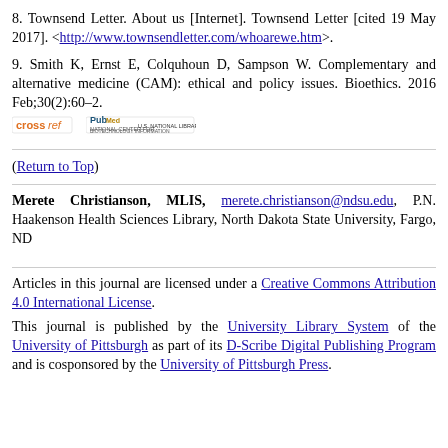8. Townsend Letter. About us [Internet]. Townsend Letter [cited 19 May 2017]. <http://www.townsendletter.com/whoarewe.htm>.
9. Smith K, Ernst E, Colquhoun D, Sampson W. Complementary and alternative medicine (CAM): ethical and policy issues. Bioethics. 2016 Feb;30(2):60–2.
(Return to Top)
Merete Christianson, MLIS, merete.christianson@ndsu.edu, P.N. Haakenson Health Sciences Library, North Dakota State University, Fargo, ND
Articles in this journal are licensed under a Creative Commons Attribution 4.0 International License.
This journal is published by the University Library System of the University of Pittsburgh as part of its D-Scribe Digital Publishing Program and is cosponsored by the University of Pittsburgh Press.